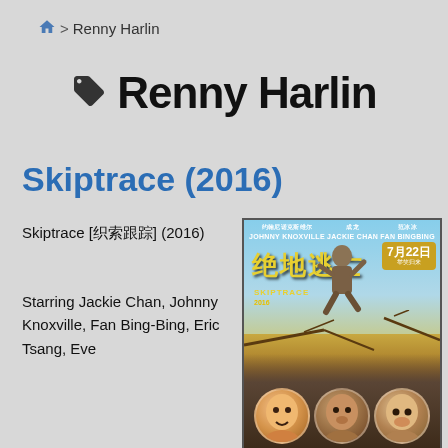🏠 > Renny Harlin
🏷 Renny Harlin
Skiptrace (2016)
Skiptrace [繩索逃脫] (2016)
Starring Jackie Chan, Johnny Knoxville, Fan Bing-Bing, Eric Tsang, Eve
[Figure (photo): Movie poster for Skiptrace (2016) showing Jackie Chan, Johnny Knoxville, and Fan Bingbing with Chinese title text and date 7月22日]